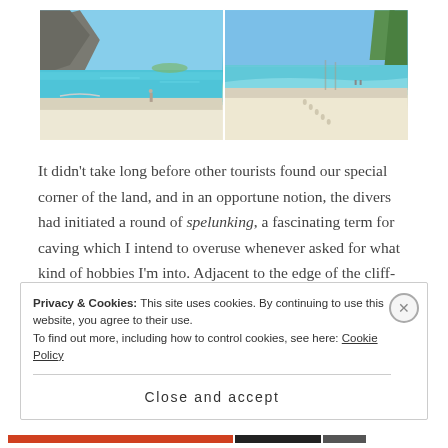[Figure (photo): Two side-by-side beach photos: left shows a turquoise beach with limestone cliffs and a person walking; right shows a white sand beach with clear shallow water and footprints.]
It didn't take long before other tourists found our special corner of the land, and in an opportune notion, the divers had initiated a round of spelunking, a fascinating term for caving which I intend to overuse whenever asked for what kind of hobbies I'm into. Adjacent to the edge of the cliff-face, hidden in
Privacy & Cookies: This site uses cookies. By continuing to use this website, you agree to their use.
To find out more, including how to control cookies, see here: Cookie Policy
Close and accept